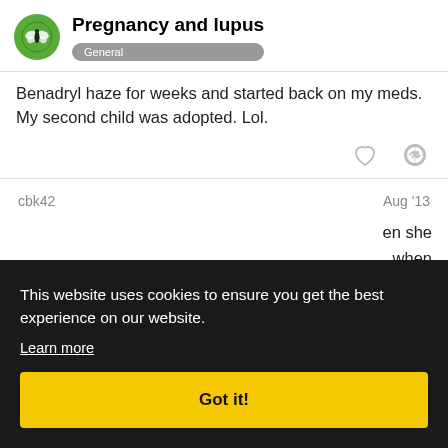Pregnancy and lupus — General
Benadryl haze for weeks and started back on my meds. My second child was adopted. Lol.
cbk42 — Aug '13
en she when u roup ould be
This website uses cookies to ensure you get the best experience on our website. Learn more
Got it!